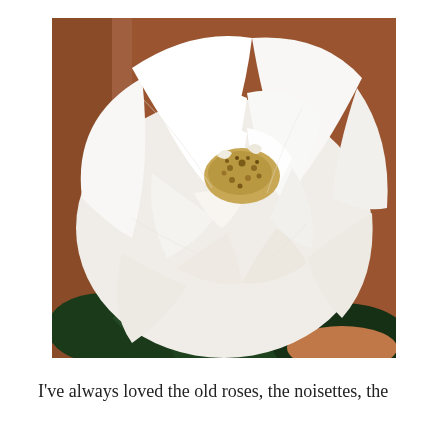[Figure (photo): Close-up photograph of a large white rose in full bloom, showing layered white petals with a golden-brown stamen center. Dark green leaves are visible at the bottom, and a terracotta pot edge is visible in the background.]
I've always loved the old roses, the noisettes, the